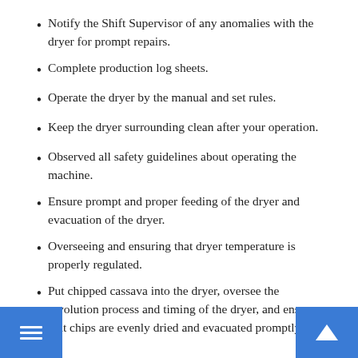Notify the Shift Supervisor of any anomalies with the dryer for prompt repairs.
Complete production log sheets.
Operate the dryer by the manual and set rules.
Keep the dryer surrounding clean after your operation.
Observed all safety guidelines about operating the machine.
Ensure prompt and proper feeding of the dryer and evacuation of the dryer.
Overseeing and ensuring that dryer temperature is properly regulated.
Put chipped cassava into the dryer, oversee the revolution process and timing of the dryer, and ensure that chips are evenly dried and evacuated promptly.